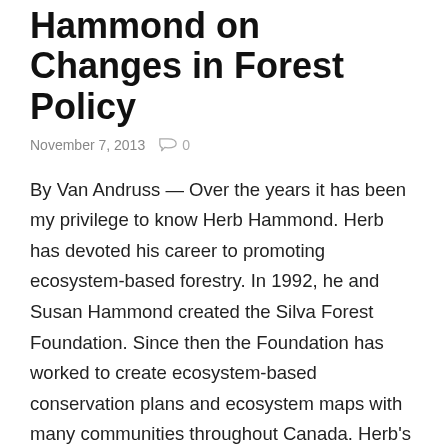Hammond on Changes in Forest Policy
November 7, 2013   0
By Van Andruss — Over the years it has been my privilege to know Herb Hammond. Herb has devoted his career to promoting ecosystem-based forestry. In 1992, he and Susan Hammond created the Silva Forest Foundation. Since then the Foundation has worked to create ecosystem-based conservation plans and ecosystem maps with many communities throughout Canada. Herb’s book, “Seeing the Forest Among the Trees,” remains an indispensible guide to the management of forestlands for health and biodiversity. His most recent book is “Maintaining Whole Systems on Earth’s Crown: Ecosystem-based Conservation Planning for the Boreal Forest.” Herb